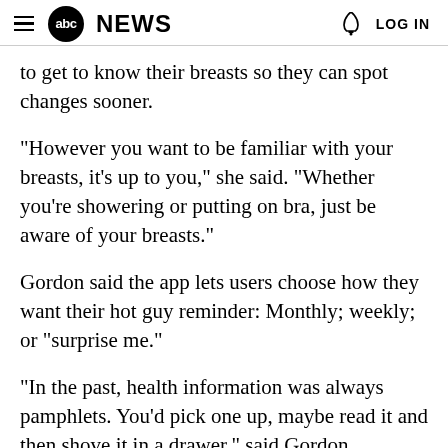abc NEWS  LOG IN
to get to know their breasts so they can spot changes sooner.
"However you want to be familiar with your breasts, it's up to you," she said. "Whether you're showering or putting on bra, just be aware of your breasts."
Gordon said the app lets users choose how they want their hot guy reminder: Monthly; weekly; or "surprise me."
"In the past, health information was always pamphlets. You'd pick one up, maybe read it and then shove it in a drawer," said Gordon